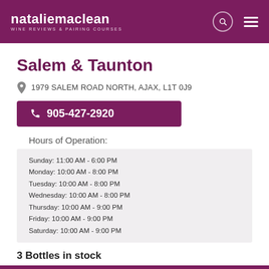nataliemaclean WINE REVIEWS & PAIRING COURSES
Salem & Taunton
1979 SALEM ROAD NORTH, AJAX, L1T 0J9
905-427-2920
Hours of Operation:
Sunday: 11:00 AM - 6:00 PM
Monday: 10:00 AM - 8:00 PM
Tuesday: 10:00 AM - 8:00 PM
Wednesday: 10:00 AM - 8:00 PM
Thursday: 10:00 AM - 9:00 PM
Friday: 10:00 AM - 9:00 PM
Saturday: 10:00 AM - 9:00 PM
3 Bottles in stock
Last checked on Sep 1, 2022